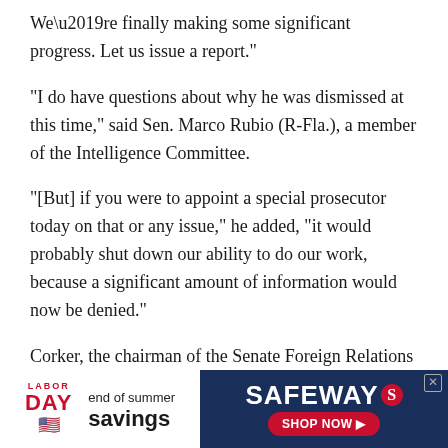We’re finally making some significant progress. Let us issue a report.”
“I do have questions about why he was dismissed at this time,” said Sen. Marco Rubio (R-Fla.), a member of the Intelligence Committee.
“[But] if you were to appoint a special prosecutor today on that or any issue,” he added, “it would probably shut down our ability to do our work, because a significant amount of information would now be denied.”
Corker, the chairman of the Senate Foreign Relations Committee, called on Trump to appoint an FBI director who is “beyond reproach.”
[Figure (screenshot): Safeway Labor Day end of summer savings advertisement banner]